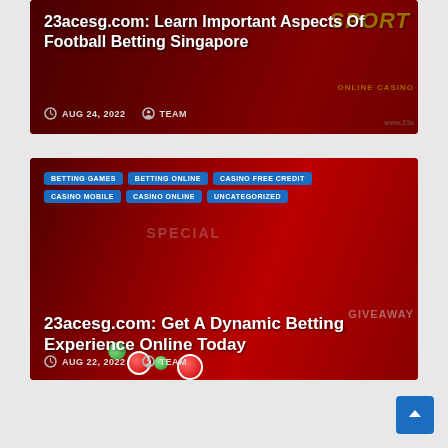[Figure (screenshot): Blog post card with red sports/casino background image showing title '23acesg.com: Learn Important Aspects Of Football Betting Singapore' with date AUG 24, 2022 and author TEAM]
23acesg.com: Learn Important Aspects Of Football Betting Singapore
AUG 24, 2022   TEAM
[Figure (screenshot): Blog post card with red casino/lottery background image with tags BETTING GAMES, BETTING ONLINE, CASINO FREE CREDIT, CASINO MOBILE, CASINO ONLINE, UNCATEGORIZED and title '23acesg.com: Get A Dynamic Betting Experience Online Today' with date AUG 22, 2022 and author TEAM]
BETTING GAMES
BETTING ONLINE
CASINO FREE CREDIT
CASINO MOBILE
CASINO ONLINE
UNCATEGORIZED
23acesg.com: Get A Dynamic Betting Experience Online Today
AUG 22, 2022   TEAM